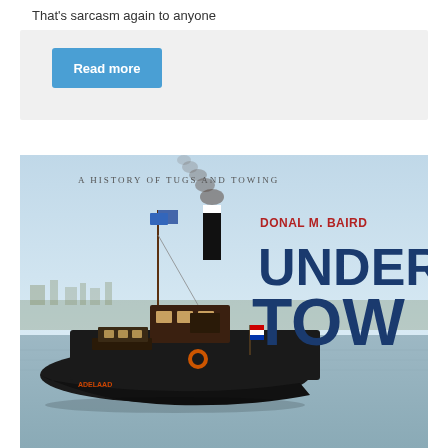That's sarcasm again to anyone
[Figure (other): A 'Read more' button inside a light grey card box]
[Figure (illustration): Book cover for 'Under Tow: A History of Tugs and Towing' by Donal M. Baird, showing a vintage steam tugboat named ADELAAD on water with smoke coming from its funnel, with the title text overlaid on the right side]